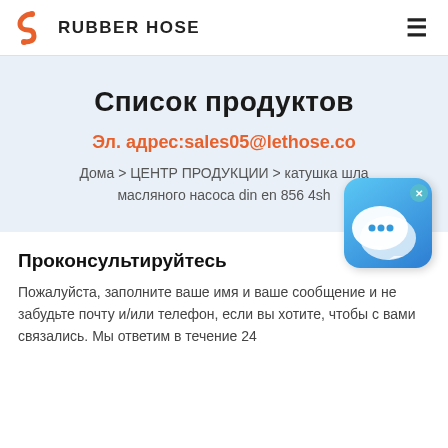RUBBER HOSE
Список продуктов
Эл. адрес:sales05@lethose.co
Дома > ЦЕНТР ПРОДУКЦИИ > катушка шланга масляного насоса din en 856 4sh
[Figure (illustration): Chat widget icon — blue gradient rounded square with speech bubble icon and close X button]
Проконсультируйтесь
Пожалуйста, заполните ваше имя и ваше сообщение и не забудьте почту и/или телефон, если вы хотите, чтобы с вами связались. Мы ответим в течение 24